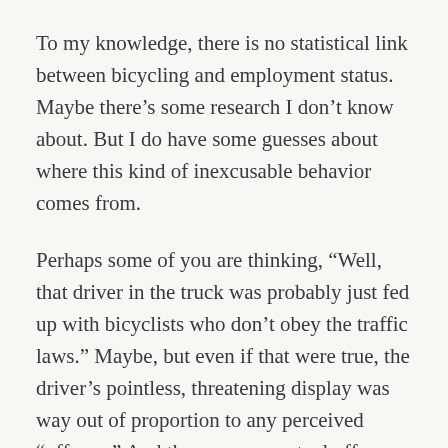To my knowledge, there is no statistical link between bicycling and employment status. Maybe there’s some research I don’t know about. But I do have some guesses about where this kind of inexcusable behavior comes from.
Perhaps some of you are thinking, “Well, that driver in the truck was probably just fed up with bicyclists who don’t obey the traffic laws.” Maybe, but even if that were true, the driver’s pointless, threatening display was way out of proportion to any perceived “offense.” And there was no actual offense, by the way: We two-wheelers were following Arizona traffic laws to the letter.
No, that kind of hostility comes, I believe, from deep